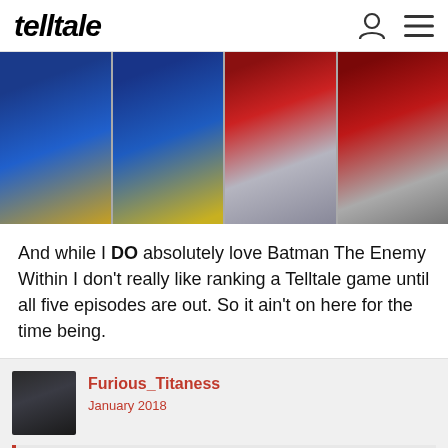telltale
[Figure (photo): Four-panel image strip: two panels showing close-up of a video game character in blue outfit with gold emblem (Chun-Li style), and two panels showing a hand holding a gun in a red/dark scene.]
And while I DO absolutely love Batman The Enemy Within I don't really like ranking a Telltale game until all five episodes are out. So it ain't on here for the time being.
Furious_Titaness
January 2018
CathalOHara posted: »
BEST Super Mario Odyssey - My game of the year.